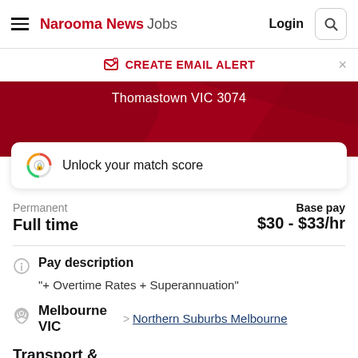Narooma News Jobs  Login
CREATE EMAIL ALERT
Thomastown VIC 3074
Unlock your match score
Permanent
Full time
Base pay
$30 - $33/hr
Pay description
"+ Overtime Rates + Superannuation"
Melbourne VIC  > Northern Suburbs Melbourne
Transport &